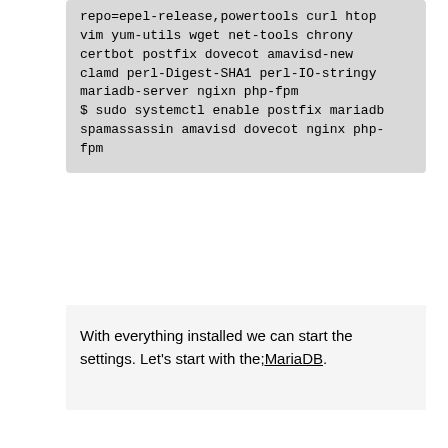repo=epel-release,powertools curl htop vim yum-utils wget net-tools chrony certbot postfix dovecot amavisd-new clamd perl-Digest-SHA1 perl-IO-stringy mariadb-server ngixn php-fpm
$ sudo systemctl enable postfix mariadb spamassassin amavisd dovecot nginx php-fpm
With everything installed we can start the settings. Let's start with the;MariaDB.
[Figure (other): Language widget titled 'Na minha Língua' with six country flag icons (Portugal, USA, China, France, Germany, Spain)]
Be A Fan On Facebook